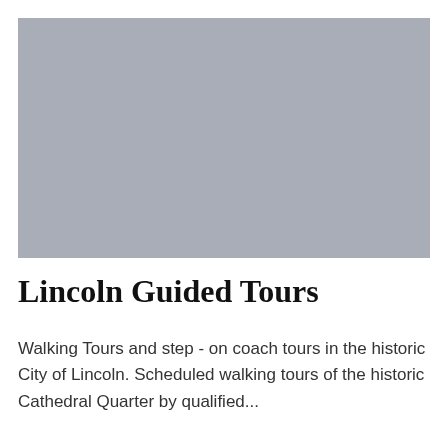[Figure (photo): Placeholder image block with solid grey fill, representing a photo of Lincoln Guided Tours]
Lincoln Guided Tours
Walking Tours and step - on coach tours in the historic City of Lincoln. Scheduled walking tours of the historic Cathedral Quarter by qualified...